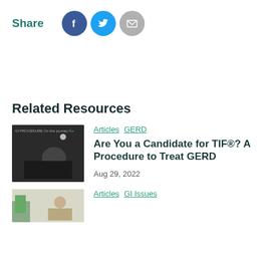Share
[Figure (other): Social share icons: Facebook (dark blue circle), Twitter (light blue circle), Email (gray circle with envelope)]
Related Resources
[Figure (photo): Woman sitting in yoga pose in dark gym setting]
Articles  GERD
Are You a Candidate for TIF®? A Procedure to Treat GERD
Aug 29, 2022
[Figure (photo): Person at a desk with plants, partially visible]
Articles  GI Issues